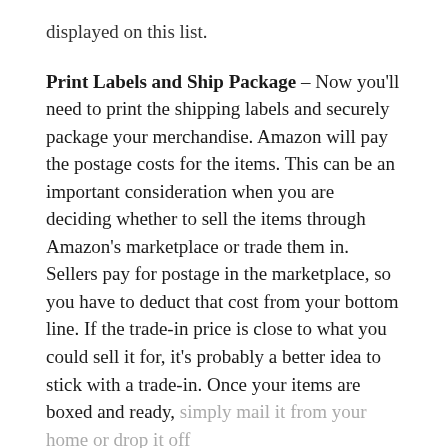displayed on this list.
Print Labels and Ship Package – Now you'll need to print the shipping labels and securely package your merchandise. Amazon will pay the postage costs for the items. This can be an important consideration when you are deciding whether to sell the items through Amazon's marketplace or trade them in. Sellers pay for postage in the marketplace, so you have to deduct that cost from your bottom line. If the trade-in price is close to what you could sell it for, it's probably a better idea to stick with a trade-in. Once your items are boxed and ready, simply mail it from your home or drop it off at a post office.